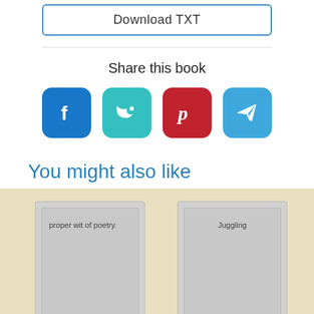[Figure (screenshot): Download TXT button with blue border]
Share this book
[Figure (infographic): Social share icons: Facebook, Twitter, Pinterest, Telegram]
You might also like
[Figure (illustration): Book card showing 'proper wit of poetry.']
[Figure (illustration): Book card showing 'Juggling']